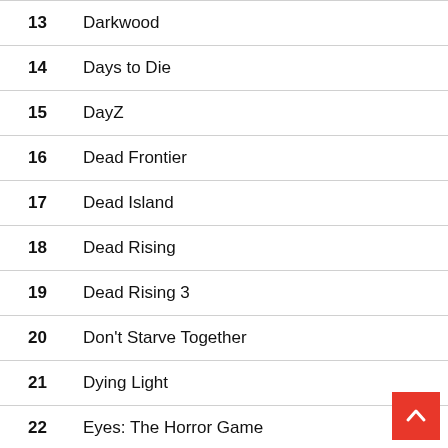| # | Game |
| --- | --- |
| 13 | Darkwood |
| 14 | Days to Die |
| 15 | DayZ |
| 16 | Dead Frontier |
| 17 | Dead Island |
| 18 | Dead Rising |
| 19 | Dead Rising 3 |
| 20 | Don't Starve Together |
| 21 | Dying Light |
| 22 | Eyes: The Horror Game |
| 23 | Faceless |
| 24 | Far Cry Primal |
| 25 | FarSky |
| 26 | H Just Survive |